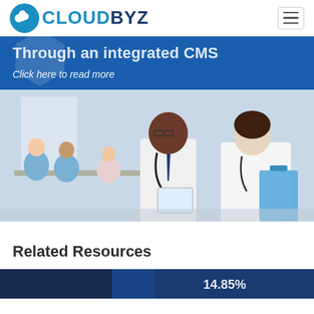CLOUDBYZ
Through an integrated CMS
Click here to read more
[Figure (photo): Two doctors in white lab coats with stethoscopes reviewing documents on a tablet and clipboard. In the background, a group of medical students or colleagues are seated at a table.]
Related Resources
[Figure (screenshot): Bottom strip showing a partial image with blue background and a number visible as 14.85%]